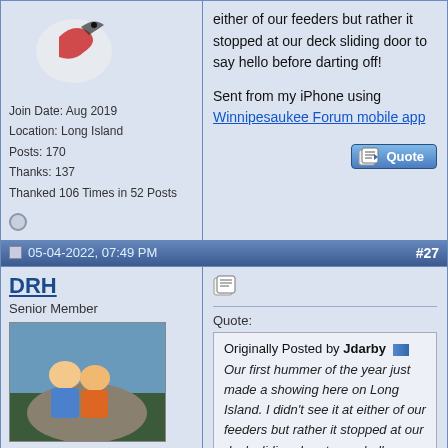either of our feeders but rather it stopped at our deck sliding door to say hello before darting off!
Sent from my iPhone using Winnipesaukee Forum mobile app
Join Date: Aug 2019
Location: Long Island
Posts: 170
Thanks: 137
Thanked 106 Times in 52 Posts
05-04-2022, 07:49 PM
#27
DRH
Senior Member
Join Date: Jul 2002
Location: Meredith
Posts: 1,648
Thanks: 1,065
Thanked 632 Times in 168 Posts
Quote: Originally Posted by Jdarby Our first hummer of the year just made a showing here on Long Island. I didn't see it at either of our feeders but rather it stopped at our deck sliding door to say hello before darting off!